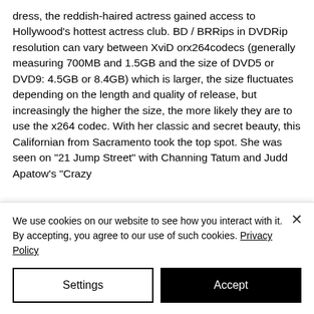dress, the reddish-haired actress gained access to Hollywood's hottest actress club. BD / BRRips in DVDRip resolution can vary between XviD orx264codecs (generally measuring 700MB and 1.5GB and the size of DVD5 or DVD9: 4.5GB or 8.4GB) which is larger, the size fluctuates depending on the length and quality of release, but increasingly the higher the size, the more likely they are to use the x264 codec. With her classic and secret beauty, this Californian from Sacramento took the top spot. She was seen on "21 Jump Street" with Channing Tatum and Judd Apatow's "Crazy
We use cookies on our website to see how you interact with it. By accepting, you agree to our use of such cookies. Privacy Policy
Settings
Accept